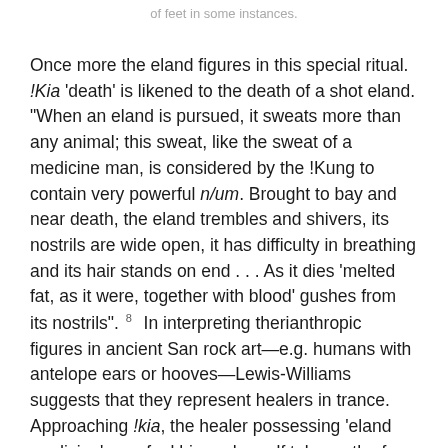of feet in some instances.
Once more the eland figures in this special ritual. !Kia 'death' is likened to the death of a shot eland. "When an eland is pursued, it sweats more than any animal; this sweat, like the sweat of a medicine man, is considered by the !Kung to contain very powerful n/um. Brought to bay and near death, the eland trembles and shivers, its nostrils are wide open, it has difficulty in breathing and its hair stands on end . . . As it dies 'melted fat, as it were, together with blood' gushes from its nostrils". 8  In interpreting therianthropic figures in ancient San rock art—e.g. humans with antelope ears or hooves—Lewis-Williams suggests that they represent healers in trance. Approaching !kia, the healer possessing 'eland medicine' may feel him or herself take on the form